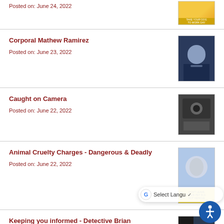Posted on: June 24, 2022
[Figure (photo): Yellow promotional poster thumbnail (Take Your Dog to Work Day)]
Corporal Mathew Ramirez
Posted on: June 23, 2022
[Figure (photo): Photo of police officer in uniform]
Caught on Camera
Posted on: June 22, 2022
[Figure (photo): Dark photo thumbnail related to Caught on Camera story]
Animal Cruelty Charges - Dangerous & Deadly
Posted on: June 22, 2022
[Figure (photo): Blue/yellow infographic poster - Don't Leave Your Pet in a Hot Vehicle]
Keeping you informed - Detective Brian Cordero
Posted on: June 22, 2022
[Figure (photo): Photo of detective with dark background]
Citizens Police Academy